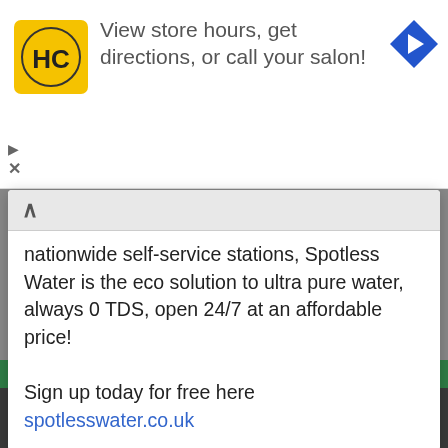[Figure (screenshot): HC Salon logo - yellow square with HC text]
View store hours, get directions, or call your salon!
[Figure (illustration): Blue diamond navigation arrow icon]
nationwide self-service stations, Spotless Water is the eco solution to ultra pure water, always 0 TDS, open 24/7 at an affordable price!
Sign up today for free here spotlesswater.co.uk
This site uses cookies to help personalise content, tailor your experience and to keep you logged in if you register.
By continuing to use this site, you are consenting to our use of cookies.
✓ Accept
Learn more...
Don't enjoy ads on the forum? Remove them ALL with a premium membership!